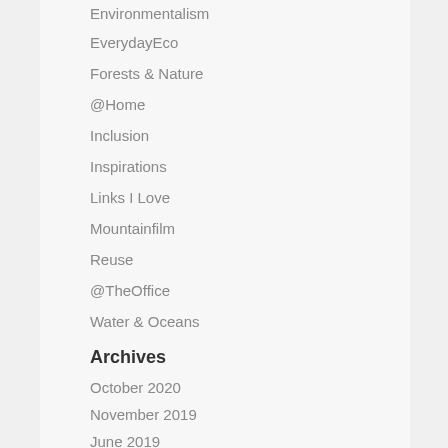Environmentalism
EverydayEco
Forests & Nature
@Home
Inclusion
Inspirations
Links I Love
Mountainfilm
Reuse
@TheOffice
Water & Oceans
Archives
October 2020
November 2019
June 2019
May 2019
September 2017
April 2017
March 2017